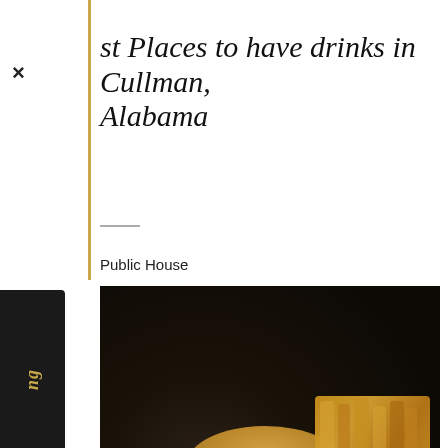st Places to have drinks in Cullman, Alabama
Public House
[Figure (photo): Close-up photo of a burger with toppings and sauce on a bun, served on a white rectangular plate alongside a pile of thick-cut french fries. Dark blurred background.]
[Figure (other): Yelp-style star rating showing approximately 3.5 out of 5 stars using red star icons on red square backgrounds]